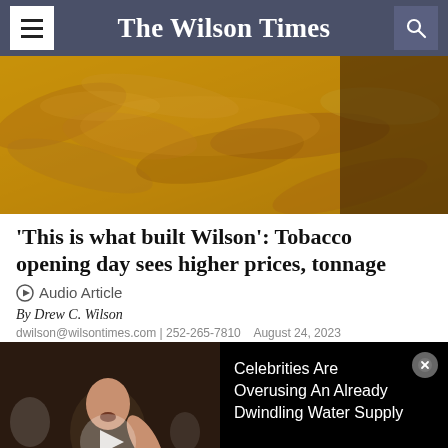The Wilson Times
[Figure (photo): Close-up photograph of dried tobacco leaves piled together, golden-brown in color, with a dark background.]
'This is what built Wilson': Tobacco opening day sees higher prices, tonnage
Audio Article
By Drew C. Wilson
August 24, 2023
[Figure (photo): Ad overlay: Left side shows a video thumbnail of a man speaking at an outdoor event with a play button. Right side has black background with text: 'Celebrities Are Overusing An Already Dwindling Water Supply' and a close button.]
th… ay. It is just the best feeling to hear them say, 'Sale time,'' Davis said. "These farmers are here and these buyers are here, [...]